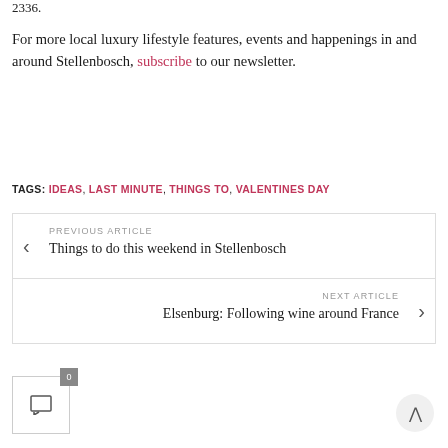2336.
For more local luxury lifestyle features, events and happenings in and around Stellenbosch, subscribe to our newsletter.
TAGS: IDEAS, LAST MINUTE, THINGS TO, VALENTINES DAY
PREVIOUS ARTICLE
Things to do this weekend in Stellenbosch
NEXT ARTICLE
Elsenburg: Following wine around France
0